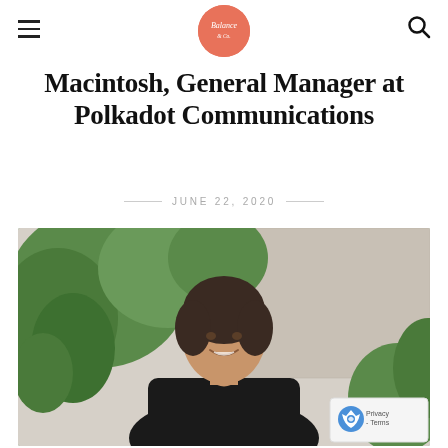Balance (logo)
Macintosh, General Manager at Polkadot Communications
JUNE 22, 2020
[Figure (photo): Professional portrait photo of a smiling woman with dark hair pulled back, wearing a black blazer, photographed outdoors in front of green tropical foliage and a stone wall.]